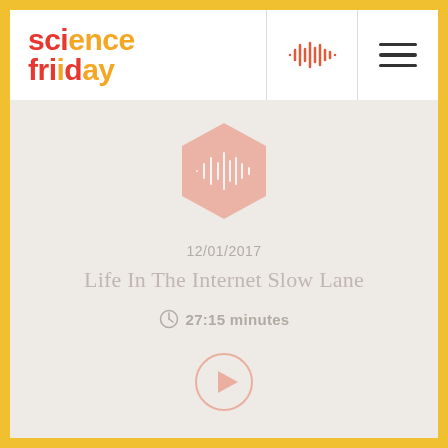[Figure (logo): Science Friday logo with 'sci' in red/orange and 'ence' in orange, 'FRI' in red/orange and 'DAY' in orange]
[Figure (other): Audio waveform icon in orange/red in header]
[Figure (other): Hamburger menu icon (three horizontal lines) in header]
[Figure (other): Hexagonal podcast/audio icon in salmon/pink color in content area]
12/01/2017
Life In The Internet Slow Lane
27:15 minutes
[Figure (other): Circular play button in salmon/pink outline]